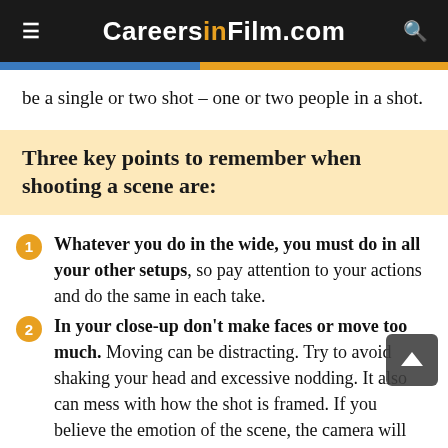CareersinFilm.com
be a single or two shot – one or two people in a shot.
Three key points to remember when shooting a scene are:
Whatever you do in the wide, you must do in all your other setups, so pay attention to your actions and do the same in each take.
In your close-up don't make faces or move too much. Moving can be distracting. Try to avoid shaking your head and excessive nodding. It also can mess with how the shot is framed. If you believe the emotion of the scene, the camera will pick it up. (This is a hard lesson for